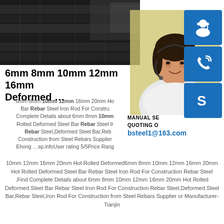[Figure (photo): Dark steel plates/bars stacked, industrial photo]
[Figure (photo): Asian woman with headset, customer service representative]
[Figure (illustration): Three blue icon boxes: headset/support, phone, Skype]
6mm 8mm 10mm 12mm 16mm Deformed ...
6mm 8mm 10mm 12mm 16mm 20mm Hot Rolled Deformed Steel Bar Rebar Steel Iron Rod For Construction Complete Details about 6mm 8mm 10mm Hot Rolled Deformed Steel Bar Rebar Steel Iron Rod For Construction Rebar Steel,Deformed Steel Bar,Rebar Steel,Iron Rod For Construction from Steel Rebars Supplier or Manufacturer-Tianjin Ehong ...sp.infoUser rating 5/5Price Range
MANUAL SE
QUOTING O
bsteel1@163.com
10mm 12mm 16mm 20mm Hot Rolled Deformed6mm 8mm 10mm 12mm 16mm 20mm Hot Rolled Deformed Steel Bar Rebar Steel Iron Rod For Construction Rebar Steel ,Find Complete Details about 6mm 8mm 10mm 12mm 16mm 20mm Hot Rolled Deformed Steel Bar Rebar Steel Iron Rod For Construction Rebar Steel,Deformed Steel Bar,Rebar Steel,Iron Rod For Construction from Steel Rebars Supplier or Manufacturer-Tianjin